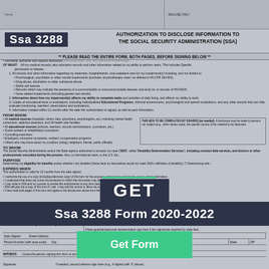Ssa 3288
AUTHORIZATION TO DISCLOSE INFORMATION TO THE SOCIAL SECURITY ADMINISTRATION (SSA)
** PLEASE READ THE ENTIRE FORM, BOTH PAGES, BEFORE SIGNING BELOW **
I voluntarily authorize and request disclosure (including paper, oral, and electronic interchange) OF WHAT: All my medical records; also education records and other information related to my ability to perform tasks. This includes specific permission to release:
1. All records and other information regarding my treatment, hospitalization, and outpatient care for my impairment(s) including, and not limited to: Psychological, psychiatric or other mental impairments (excludes 'psychotherapy notes' as defined in 45 CFR 164.501); Drug abuse, alcoholism or other substance abuse; Sickle cell anemia; Records which may indicate the presence of a communicable or noncommunicable disease; and tests for or records of HIV/AIDS; Gene related impairments (including genetic test results).
2. Information about how my impairment(s) affects my ability to complete tasks and activities of daily living, and affects my ability to work.
3. Copies of educational tests or evaluations, including Individualized Educational Programs, informal assessments, psychological and speech evaluations, and any other records that can help evaluate functioning, teachers' observations and evaluations.
4. Information created within 12 months after the date this authorization is signed, as well as past information.
FROM WHOM
All medical sources (hospitals, clinics, labs, physicians, psychologists, etc.) including mental health, corrections, addiction treatment, and VA health care facilities; All educational sources (schools, teachers, records administrators, counselors, etc.); Social workers or rehabilitation counselors; Consulting examiners; Employers, insurance companies, workers' compensation programs; Others who may know about my condition (clergy, neighbors, friends, public officials).
THIS BOX TO BE COMPLETED BY SSA/DDS (as needed). A disclosure may be made to persons not subject (e.g., other names used), the specific source of the material to be disclosed.
TO WHOM
The Social Security Administration and/or the State agency authorized to process my case ('DDS', called 'Disability Determination Services'), including contract data services, and doctors or other professionals consulted during the process. Also, to international users, to the U.S. Department...
PURPOSE
Determining my eligibility for benefits and/or whether I am disabled (these facts by themselves would not meet SSA's definition of disability); Determining whether I am capable of managing my benefits.
EXPIRES WHEN
This authorization is valid for 12 months from the date signed.
I authorize the use of a copy (including electronic copy) of this form for the purposes stated above. I understand that there are some circumstances in which the information may be redisclosed to other parties (see page 2 for details). I may write to SSA and my sources to revoke this authorization at any time (see page 2 for details). SSA will give me a copy of this form if I ask. I may ask the source to allow me to inspect or get a copy of material to be disclosed. I have read both pages of this form and agree to the disclosures above from the types of sources listed.
PLEASE SIGN USING BLUE OR BLACK INK ONLY. INDIVIDUAL authorizing disclosure Signature
If not signed by subject of disclosure, specify basis for authority to sign: Parent of minor; Guardian; Other personal representative shown. (Have guardian/personal representative sign here if two signatures required by state law)
Date Signed   Street Address
Phone Number (with area code)   City   State   ZIP
WITNESS   I know the person signing this form or am satisfied of this person's identity.
Signature   If needed, second witness sign here (e.g., if signed with 'X' above)
GET
Ssa 3288 Form 2020-2022
[Figure (other): Green 'Get Form' button overlay]